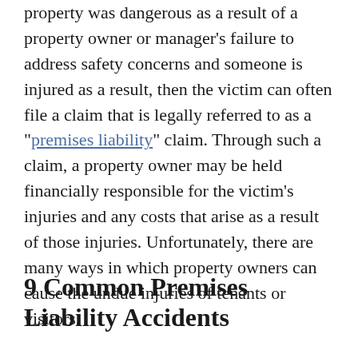property was dangerous as a result of a property owner or manager's failure to address safety concerns and someone is injured as a result, then the victim can often file a claim that is legally referred to as a "premises liability" claim. Through such a claim, a property owner may be held financially responsible for the victim's injuries and any costs that arise as a result of those injuries. Unfortunately, there are many ways in which property owners can cause the undue injuries of tenants or visitors.
9 Common Premises Liability Accidents